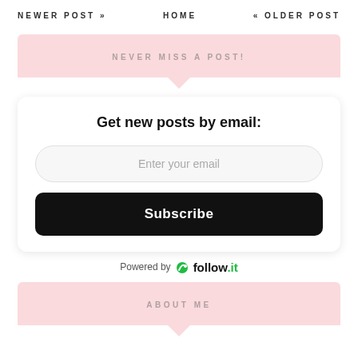NEWER POST »    HOME    « OLDER POST
NEVER MISS A POST!
Get new posts by email:
Enter your email
Subscribe
Powered by follow.it
ABOUT ME